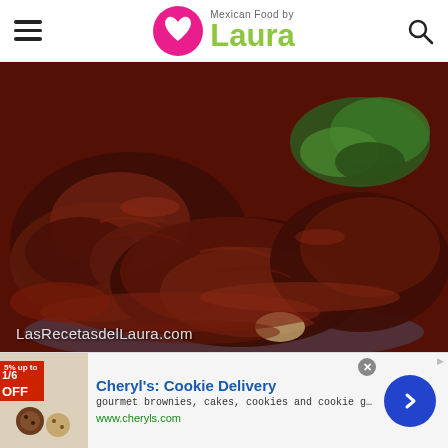[Figure (logo): Mexican Food by Laura logo with pink heart circle and green cursive Laura text]
[Figure (photo): Close-up photo of Mexican braised beef in red mole sauce with garnish, watermark LasRecetasdelLaura.com]
Cheryl's: Cookie Delivery
gourmet brownies, cakes, cookies and cookie gift baskets
www.cheryls.com